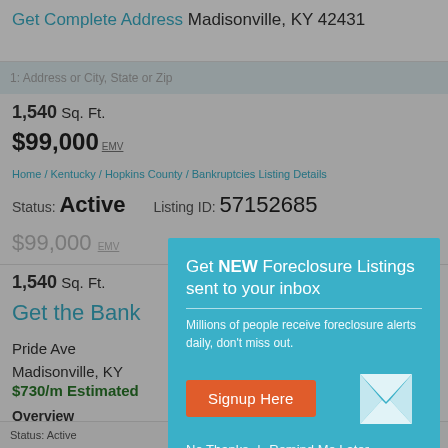Get Complete Address Madisonville, KY 42431
1,540 Sq. Ft.
$99,000 EMV
Home / Kentucky / Hopkins County / Bankruptcies Listing Details
Status: Active   Listing ID: 57152685
$99,000 EMV
1,540 Sq. Ft.
Get the Bank...
Pride Ave
Madisonville, KY
$730/m Estimated
Overview
This Bankruptcy is lo... It has , 1,540 sqft of ... with an estimated m...
Save money on this property now.
Status: Active    Listing ID: 57152685
[Figure (infographic): Modal popup overlay: 'Get NEW Foreclosure Listings sent to your inbox' with description text, Signup Here button, mail icon, and No Thanks | Remind Me Later links on teal background.]